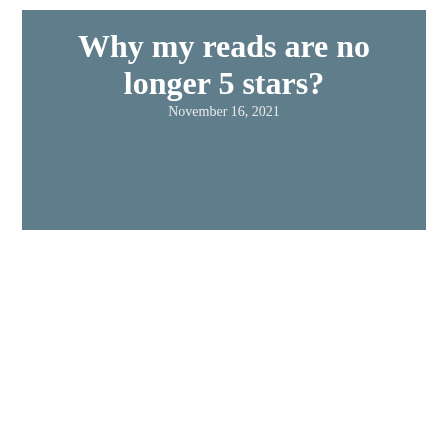Why my reads are no longer 5 stars?
November 16, 2021